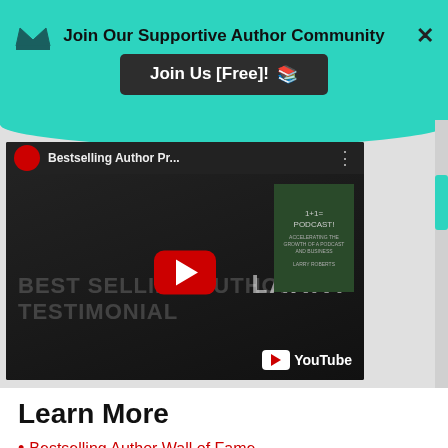Join Our Supportive Author Community
Join Us [Free]!
[Figure (screenshot): YouTube video thumbnail showing a man giving a thumbs up, with text 'BEST SELLING AUTHOR TESTIMONIAL' and 'LARRY', and a book cover visible. Title bar reads 'Bestselling Author Pr...' with a YouTube play button overlay.]
Learn More
Bestselling Author Wall of Fame
Testimonials
Contact
Media